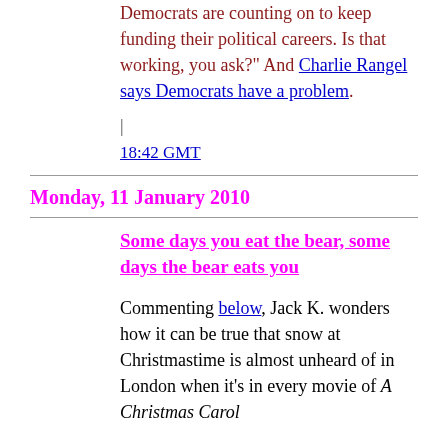Democrats are counting on to keep funding their political careers. Is that working, you ask?" And Charlie Rangel says Democrats have a problem.
18:42 GMT
Monday, 11 January 2010
Some days you eat the bear, some days the bear eats you
Commenting below, Jack K. wonders how it can be true that snow at Christmastime is almost unheard of in London when it's in every movie of A Christmas Carol